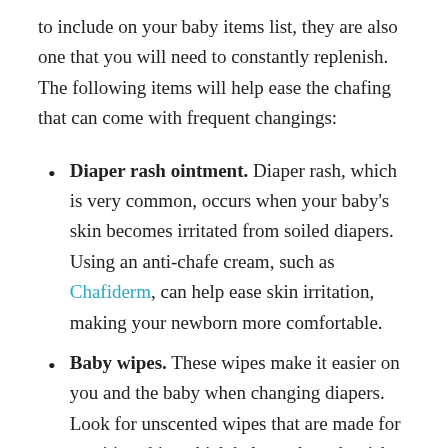to include on your baby items list, they are also one that you will need to constantly replenish. The following items will help ease the chafing that can come with frequent changings:
Diaper rash ointment. Diaper rash, which is very common, occurs when your baby's skin becomes irritated from soiled diapers. Using an anti-chafe cream, such as Chafiderm, can help ease skin irritation, making your newborn more comfortable.
Baby wipes. These wipes make it easier on you and the baby when changing diapers. Look for unscented wipes that are made for sensitive skin, which helps reduce the risk of irritating your baby's skin.